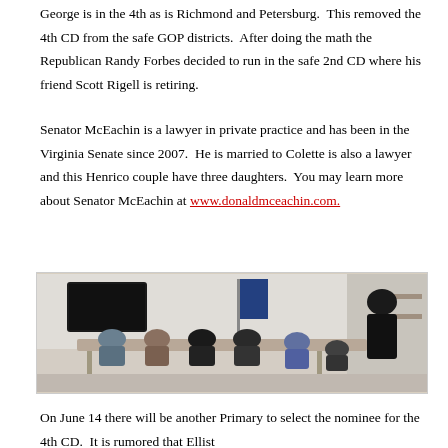George is in the 4th as is Richmond and Petersburg.  This removed the 4th CD from the safe GOP districts.  After doing the math the Republican Randy Forbes decided to run in the safe 2nd CD where his friend Scott Rigell is retiring.
Senator McEachin is a lawyer in private practice and has been in the Virginia Senate since 2007.  He is married to Colette is also a lawyer and this Henrico couple have three daughters.  You may learn more about Senator McEachin at www.donaldmceachin.com.
[Figure (photo): Photo of a meeting room with people seated around a table. A man in a suit is standing at the right side of the room. Flags are visible in the background.]
On June 14 there will be another Primary to select the nominee for the 4th CD.  It is rumored that Ellist...